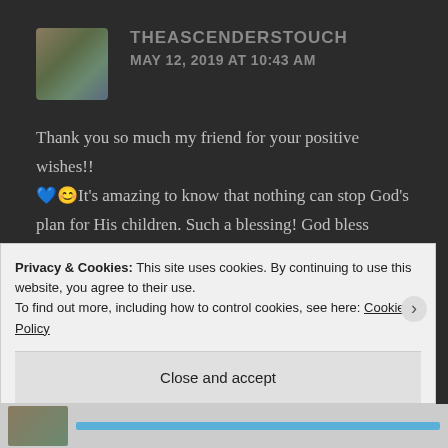THEASCENDERSTOUCH — MAY 12, 2019 AT 10:43 AM
Thank you so much my friend for your positive wishes!! 💙😊It's amazing to know that nothing can stop God's plan for His children. Such a blessing! God bless you!!!!
★ Liked by 1 person
Reply
Privacy & Cookies: This site uses cookies. By continuing to use this website, you agree to their use.
To find out more, including how to control cookies, see here: Cookie Policy
Close and accept